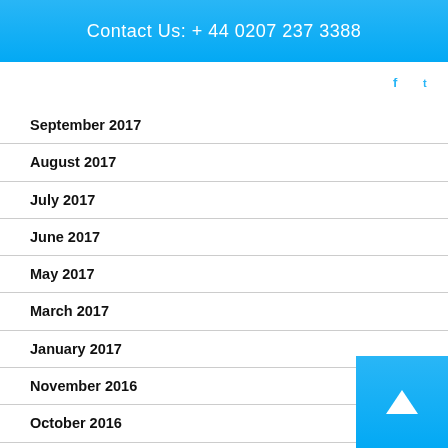Contact Us: + 44 0207 237 3388
September 2017
August 2017
July 2017
June 2017
May 2017
March 2017
January 2017
November 2016
October 2016
September 2016
August 2016
July 2016
June 2016
May 2016
April 2016
December 2015